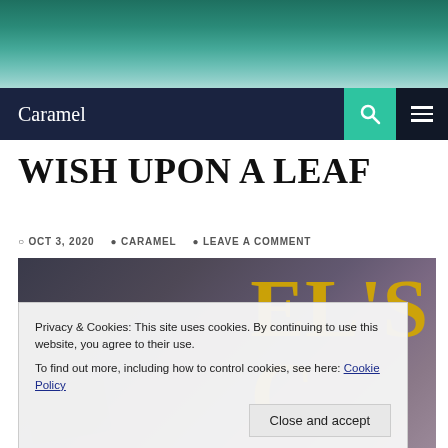[Figure (photo): Hero image of lake with boats and mountains reflected in water]
Caramel
WISH UPON A LEAF
OCT 3, 2020  CARAMEL  LEAVE A COMMENT
[Figure (photo): Featured post image showing books and a cozy blanket with yellow letters reading EL'S C]
Privacy & Cookies: This site uses cookies. By continuing to use this website, you agree to their use.
To find out more, including how to control cookies, see here: Cookie Policy